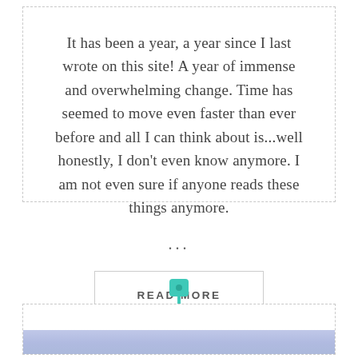It has been a year, a year since I last wrote on this site! A year of immense and overwhelming change. Time has seemed to move even faster than ever before and all I can think about is...well honestly, I don't even know anymore. I am not even sure if anyone reads these things anymore.
...
READ MORE
[Figure (illustration): Teal pushpin icon above a dashed-border card containing a sky/landscape photo]
[Figure (photo): Partial photo of a purple-blue sky with clouds at the bottom of the page]